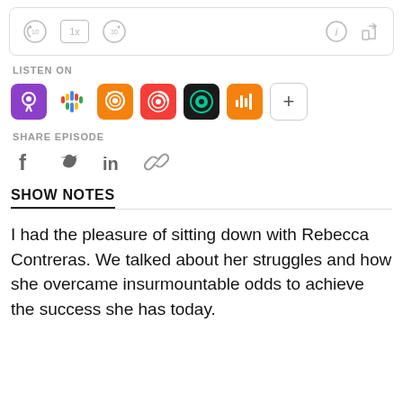[Figure (screenshot): Podcast player control bar with rewind 10s, 1x speed, forward 30s, info, and share icons]
LISTEN ON
[Figure (infographic): Row of podcast platform icons: Apple Podcasts, Google Podcasts, Overcast, Pocket Casts, Castro, Castbox, and a plus button]
SHARE EPISODE
[Figure (infographic): Social share icons: Facebook, Twitter, LinkedIn, and link/copy icon]
SHOW NOTES
I had the pleasure of sitting down with Rebecca Contreras. We talked about her struggles and how she overcame insurmountable odds to achieve the success she has today.